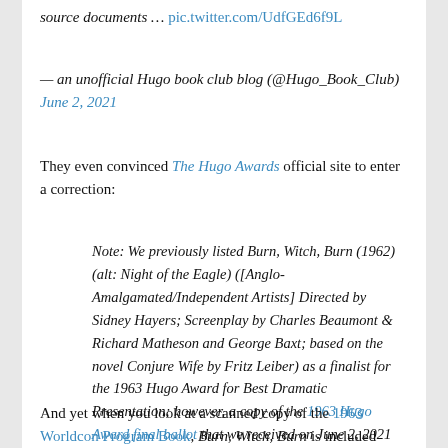source documents … pic.twitter.com/UdfGEd6f9L
— an unofficial Hugo book club blog (@Hugo_Book_Club)
June 2, 2021
They even convinced The Hugo Awards official site to enter a correction:
Note: We previously listed Burn, Witch, Burn (1962) (alt: Night of the Eagle) ([Anglo-Amalgamated/Independent Artists] Directed by Sidney Hayers; Screenplay by Charles Beaumont & Richard Matheson and George Baxt; based on the novel Conjure Wife by Fritz Leiber) as a finalist for the 1963 Hugo Award for Best Dramatic Presentation; however, a copy of the 1963 Hugo Award final ballot that we received on June 2, 2021 does not include this work as a finalist.
And yet when you look at a scanned copy of the 1963 Worldcon Program Book, Burn, Witch, Burn is included